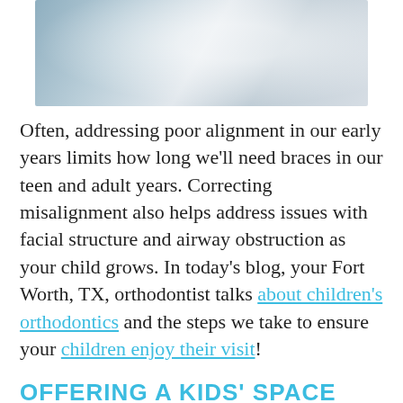[Figure (photo): A person in a white lab coat, likely a dental professional, photographed from the shoulders up with a blurred background.]
Often, addressing poor alignment in our early years limits how long we'll need braces in our teen and adult years. Correcting misalignment also helps address issues with facial structure and airway obstruction as your child grows. In today's blog, your Fort Worth, TX, orthodontist talks about children's orthodontics and the steps we take to ensure your children enjoy their visit!
OFFERING A KIDS' SPACE
We always want our young patients to feel welcome and comfortable. When they arrive, they will be greeted by our friendly staff.